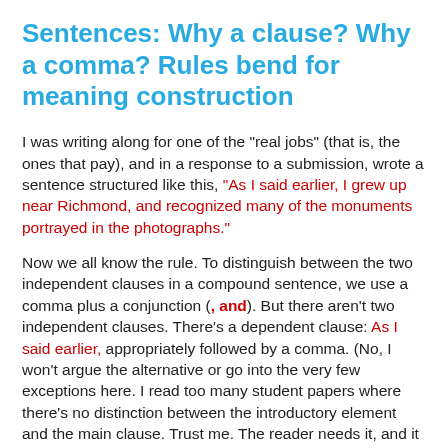Sentences: Why a clause? Why a comma? Rules bend for meaning construction
I was writing along for one of the "real jobs" (that is, the ones that pay), and in a response to a submission, wrote a sentence structured like this, "As I said earlier, I grew up near Richmond, and recognized many of the monuments portrayed in the photographs."
Now we all know the rule. To distinguish between the two independent clauses in a compound sentence, we use a comma plus a conjunction (, and). But there aren't two independent clauses. There's a dependent clause: As I said earlier, appropriately followed by a comma. (No, I won't argue the alternative or go into the very few exceptions here. I read too many student papers where there's no distinction between the introductory element and the main clause. Trust me. The reader needs it, and it was only the AP's need to save ink for newspapers that made this at all arguable. If you have read a thousand student sentences like this where